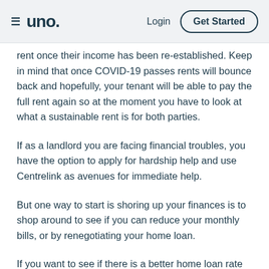≡ uno. Login Get Started
rent once their income has been re-established. Keep in mind that once COVID-19 passes rents will bounce back and hopefully, your tenant will be able to pay the full rent again so at the moment you have to look at what a sustainable rent is for both parties.
If as a landlord you are facing financial troubles, you have the option to apply for hardship help and use Centrelink as avenues for immediate help.
But one way to start is shoring up your finances is to shop around to see if you can reduce your monthly bills, or by renegotiating your home loan.
If you want to see if there is a better home loan rate